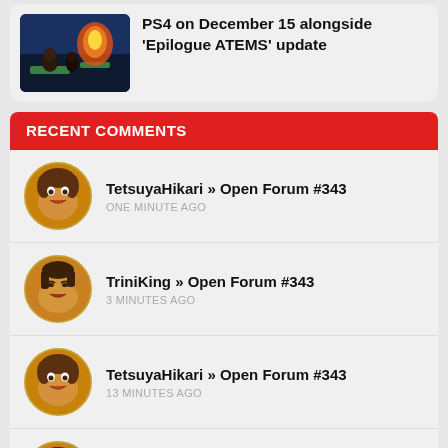PS4 on December 15 alongside 'Epilogue ATEMS' update
RECENT COMMENTS
TetsuyaHikari » Open Forum #343
ONE MINUTE AGO
TriniKing » Open Forum #343
3 MINUTES AGO
TetsuyaHikari » Open Forum #343
13 MINUTES AGO
TriniKing » Open Forum #343